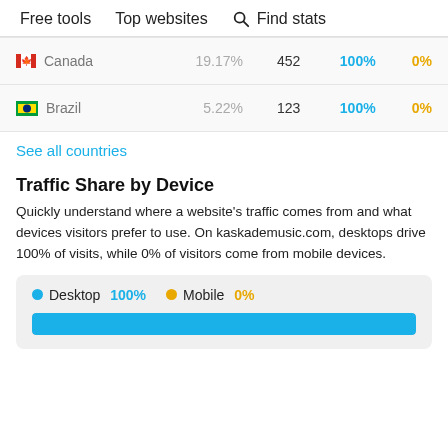Free tools   Top websites   Find stats
| Country | Share | Visits | Desktop | Mobile |
| --- | --- | --- | --- | --- |
| Canada | 19.17% | 452 | 100% | 0% |
| Brazil | 5.22% | 123 | 100% | 0% |
See all countries
Traffic Share by Device
Quickly understand where a website's traffic comes from and what devices visitors prefer to use. On kaskademusic.com, desktops drive 100% of visits, while 0% of visitors come from mobile devices.
Desktop 100%   Mobile 0%